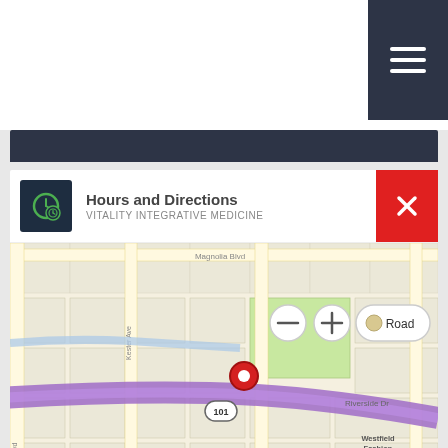Hours and Directions – VITALITY INTEGRATIVE MEDICINE
[Figure (map): Bing map showing location near 4849 Van Nuys Blvd, Sherman Oaks, CA 91403. Shows highway 101 (US-101), Kester Ave, Sulveda Blvd, Riverside Dr, Magnolia Blvd, Westfield Fashion Square. Red pin marker on Van Nuys Blvd. Map controls: zoom out (–), zoom in (+), Road view button. Scale bar: 2500 feet / 500 m. Copyright: 2022 TomTom, 2022 Microsoft Corporation, OpenStreetMap, Terms.]
Address
4849 Van Nuys Blvd
Suite 104
Sherman Oaks, CA 91403